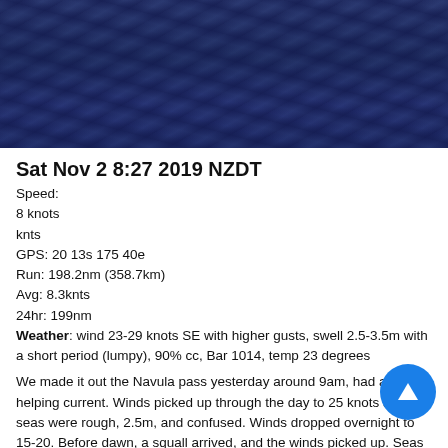[Figure (map): Blue ocean/sea depth map showing underwater topography in dark blue tones]
Sat Nov 2 8:27 2019 NZDT
Speed:
8 knots
knts
GPS: 20 13s 175 40e
Run: 198.2nm (358.7km)
Avg: 8.3knts
24hr: 199nm
Weather: wind 23-29 knots SE with higher gusts, swell 2.5-3.5m with a short period (lumpy), 90% cc, Bar 1014, temp 23 degrees
We made it out the Navula pass yesterday around 9am, had a helping current. Winds picked up through the day to 25 knots and seas were rough, 2.5m, and confused. Winds dropped overnight to 15-20. Before dawn, a squall arrived, and the winds picked up. Seas are worse this morning. Glad we have seasick pills. Hope these conditions subside a bit soon. AWOB. Tracker